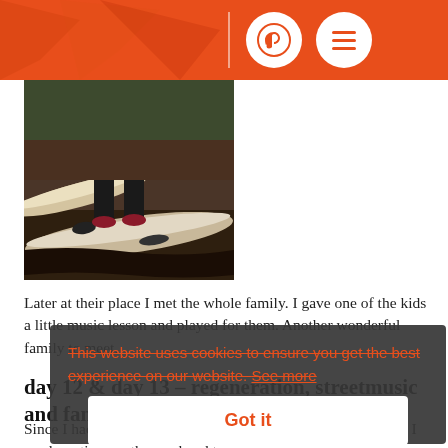[Figure (photo): A child standing on fallen birch logs in a forest or outdoor area]
Later at their place I met the whole family. I gave one of the kids a little music lesson and played for them. Another wonderful family to meet.
day 12 & day 13 – regeneration, streetmusic and family life
This website uses cookies to ensure you get the best experience on our website. See more
Got it
Since I had to wait till monday for my replacement controller. I used my time on the weekend to